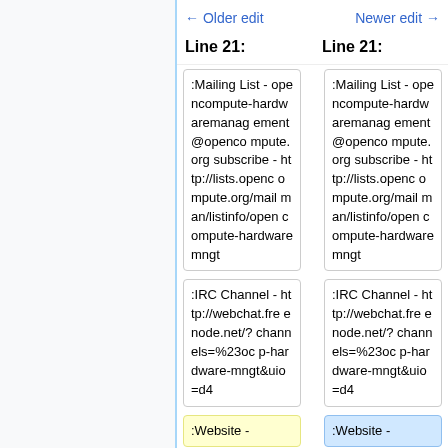← Older edit    Newer edit →
Line 21:    Line 21:
:Mailing List - opencompute-hardwaremanagement@opencompute.org subscribe - http://lists.opencompute.org/mailman/listinfo/opencompute-hardwaremngt
:Mailing List - opencompute-hardwaremanagement@opencompute.org subscribe - http://lists.opencompute.org/mailman/listinfo/opencompute-hardwaremngt
:IRC Channel - http://webchat.freenode.net/?channels=%23ocp-hardware-mngt&uio=d4
:IRC Channel - http://webchat.freenode.net/?channels=%23ocp-hardware-mngt&uio=d4
:Website -
:Website -